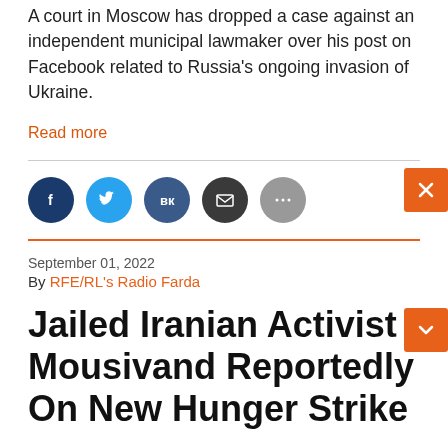A court in Moscow has dropped a case against an independent municipal lawmaker over his post on Facebook related to Russia's ongoing invasion of Ukraine.
Read more
[Figure (other): Social share icons: Facebook, Twitter, VK, Email, More]
September 01, 2022
By RFE/RL's Radio Farda
Jailed Iranian Activist Mousivand Reportedly On New Hunger Strike